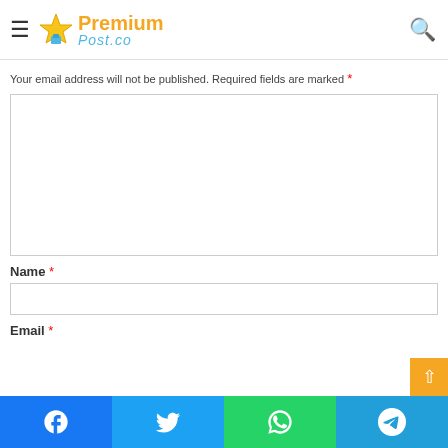PremiumPost.co navigation bar with hamburger menu and search icon
Leave a Reply
Your email address will not be published. Required fields are marked *
[Figure (screenshot): Large empty comment textarea input box]
Name *
[Figure (screenshot): Single-line text input field for Name]
Email *
Social sharing bar: Facebook, Twitter, WhatsApp, Telegram